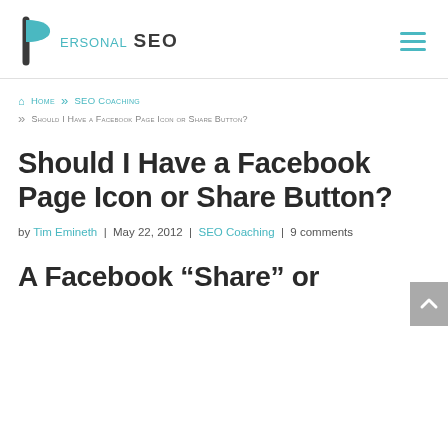Personal SEO
Home » SEO Coaching » Should I Have a Facebook Page Icon or Share Button?
Should I Have a Facebook Page Icon or Share Button?
by Tim Emineth | May 22, 2012 | SEO Coaching | 9 comments
A Facebook “Share” or